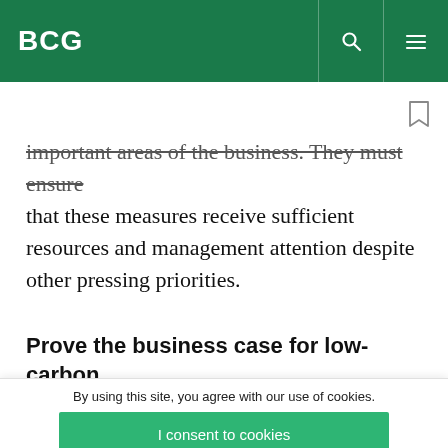BCG
important areas of the business. They must ensure that these measures receive sufficient resources and management attention despite other pressing priorities.
Prove the business case for low-carbon
By using this site, you agree with our use of cookies.
I consent to cookies
Want to know more?
Read our Cookie Policy